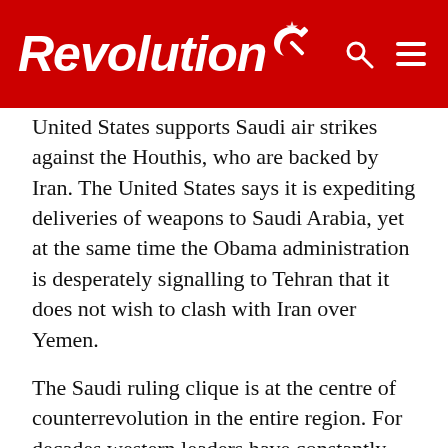Revolution
United States supports Saudi air strikes against the Houthis, who are backed by Iran. The United States says it is expediting deliveries of weapons to Saudi Arabia, yet at the same time the Obama administration is desperately signalling to Tehran that it does not wish to clash with Iran over Yemen.
The Saudi ruling clique is at the centre of counterrevolution in the entire region. For decades western leaders have constantly backed the reactionary Saudi monarchy, slavishly swallowing all its vicious actions and licking the backside of the disgusting creatures that rule the roost in Riyadh, as we saw at the funeral of the late unlamented King Abdullah.
These devout Muslims, the “protectors of the Holy Places” and hitherto one of America’s most loyal allies, beheaded more than 50 people in one year alone, apart from other pleasant little practices like floggings and crucifixions. But